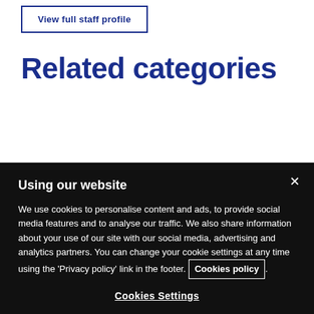View full staff profile
Related categories
Using our website
We use cookies to personalise content and ads, to provide social media features and to analyse our traffic. We also share information about your use of our site with our social media, advertising and analytics partners. You can change your cookie settings at any time using the ‘Privacy policy’ link in the footer. Cookies policy.
Cookies Settings